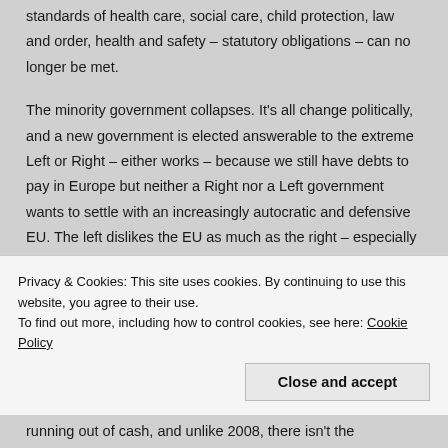standards of health care, social care, child protection, law and order, health and safety – statutory obligations – can no longer be met.
The minority government collapses. It's all change politically, and a new government is elected answerable to the extreme Left or Right – either works – because we still have debts to pay in Europe but neither a Right nor a Left government wants to settle with an increasingly autocratic and defensive EU. The left dislikes the EU as much as the right – especially when they back  the Spanish Government over Catalonia…
Privacy & Cookies: This site uses cookies. By continuing to use this website, you agree to their use.
To find out more, including how to control cookies, see here: Cookie Policy
Close and accept
running out of cash, and unlike 2008, there isn't the